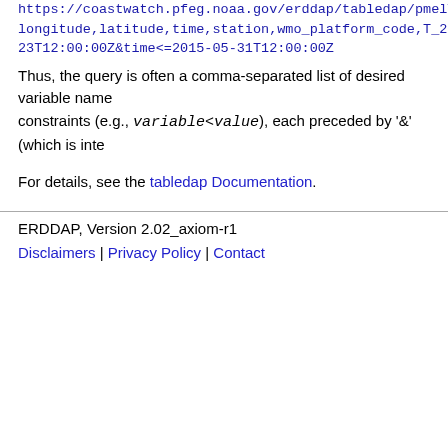https://coastwatch.pfeg.noaa.gov/erddap/tabledap/pmelT longitude,latitude,time,station,wmo_platform_code,T_25 23T12:00:00Z&time<=2015-05-31T12:00:00Z
Thus, the query is often a comma-separated list of desired variable name constraints (e.g., variable<value), each preceded by '&' (which is inte
For details, see the tabledap Documentation.
ERDDAP, Version 2.02_axiom-r1
Disclaimers | Privacy Policy | Contact